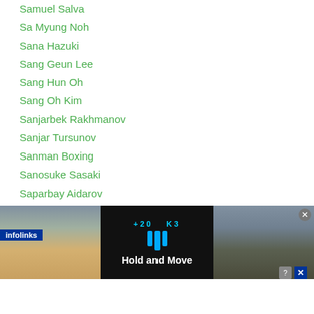Samuel Salva
Sa Myung Noh
Sana Hazuki
Sang Geun Lee
Sang Hun Oh
Sang Oh Kim
Sanjarbek Rakhmanov
Sanjar Tursunov
Sanman Boxing
Sanosuke Sasaki
Saparbay Aidarov
Sarasa Ichimura
Sarawut Thawornkham
Sardor Muzaffarov
Satanmuanglek CP Freshmart
Nishimura
[Figure (screenshot): Infolinks advertisement banner showing a road navigation game-like image with text 'Hold and Move']